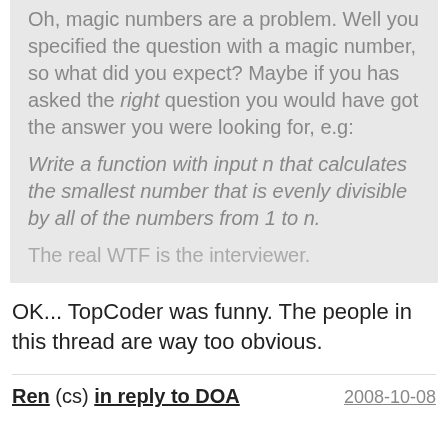Oh, magic numbers are a problem. Well you specified the question with a magic number, so what did you expect? Maybe if you has asked the right question you would have got the answer you were looking for, e.g:
Write a function with input n that calculates the smallest number that is evenly divisible by all of the numbers from 1 to n.
The real WTF is the interviewer.
OK... TopCoder was funny. The people in this thread are way too obvious.
Ren (cs) in reply to DOA   2008-10-08